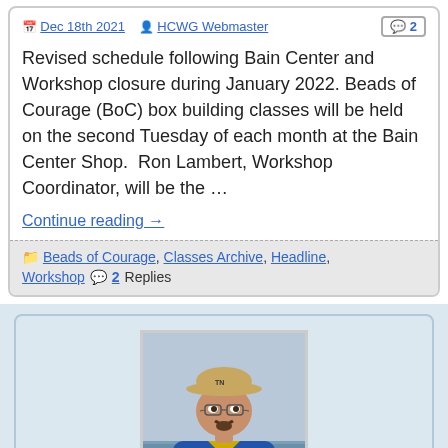Dec 18th 2021 · HCWG Webmaster · 2 comments
Revised schedule following Bain Center and Workshop closure during January 2022. Beads of Courage (BoC) box building classes will be held on the second Tuesday of each month at the Bain Center Shop.  Ron Lambert, Workshop Coordinator, will be the …
Continue reading →
Beads of Courage, Classes Archive, Headline, Workshop  2 Replies
[Figure (photo): Portrait photo of a middle-aged man wearing a tan baseball cap, glasses, and a blue jacket with a yellow shirt, standing near water on a cloudy day.]